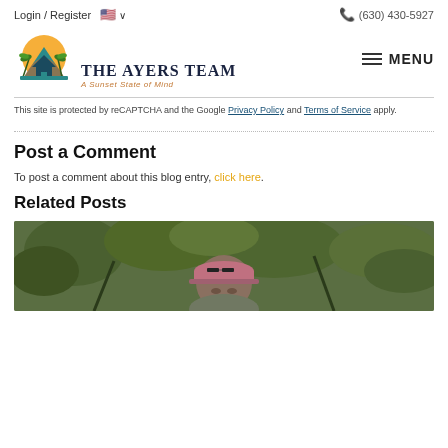Login / Register  🇺🇸 ∨    (630) 430-5927
[Figure (logo): The Ayers Team logo with palm trees, sunset, and house icon. Text reads 'The Ayers Team' and 'A Sunset State of Mind']
This site is protected by reCAPTCHA and the Google Privacy Policy and Terms of Service apply.
Post a Comment
To post a comment about this blog entry, click here.
Related Posts
[Figure (photo): Outdoor photo of a person wearing a pink cap among green trees/foliage]